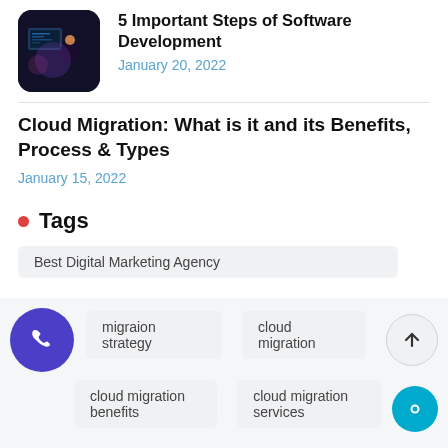[Figure (photo): Thumbnail image of person at computer with dark blue tech background, rounded square]
5 Important Steps of Software Development
January 20, 2022
Cloud Migration: What is it and its Benefits, Process & Types
January 15, 2022
Tags
Best Digital Marketing Agency
migraion strategy
cloud migration
cloud migration benefits
cloud migration services